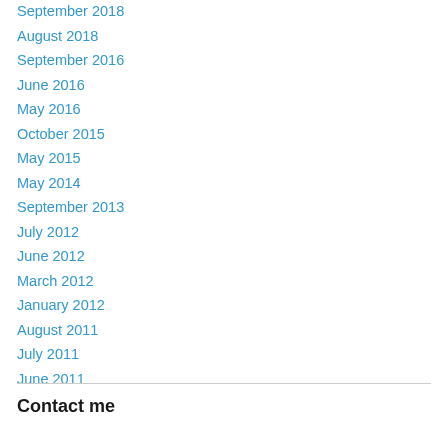September 2018
August 2018
September 2016
June 2016
May 2016
October 2015
May 2015
May 2014
September 2013
July 2012
June 2012
March 2012
January 2012
August 2011
July 2011
June 2011
Contact me